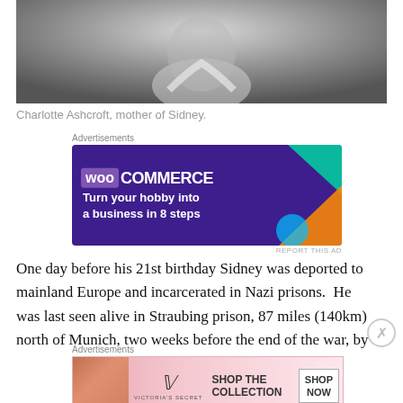[Figure (photo): Black and white photograph of Charlotte Ashcroft, cropped showing upper body, wearing a light-colored top]
Charlotte Ashcroft, mother of Sidney.
[Figure (other): WooCommerce advertisement banner: Turn your hobby into a business in 8 steps]
One day before his 21st birthday Sidney was deported to mainland Europe and incarcerated in Nazi prisons.  He was last seen alive in Straubing prison, 87 miles (140km) north of Munich, two weeks before the end of the war, by
[Figure (other): Victoria's Secret advertisement: Shop The Collection. Shop Now.]